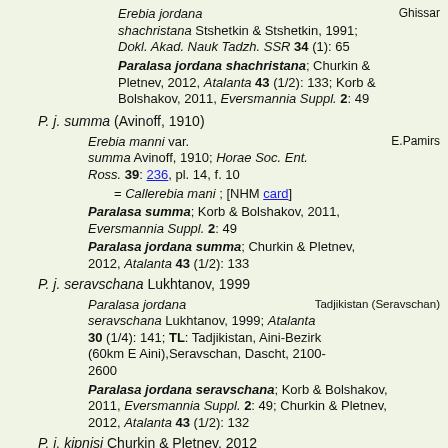Erebia jordana shachristana Stshetkin & Stshetkin, 1991; Dokl. Akad. Nauk Tadzh. SSR 34 (1): 65 [Ghissar]
Paralasa jordana shachristana; Churkin & Pletnev, 2012, Atalanta 43 (1/2): 133; Korb & Bolshakov, 2011, Eversmannia Suppl. 2: 49
P. j. summa (Avinoff, 1910)
Erebia manni var. summa Avinoff, 1910; Horae Soc. Ent. Ross. 39: 236, pl. 14, f. 10 [E.Pamirs]
= Callerebia mani ; [NHM card]
Paralasa summa; Korb & Bolshakov, 2011, Eversmannia Suppl. 2: 49
Paralasa jordana summa; Churkin & Pletnev, 2012, Atalanta 43 (1/2): 133
P. j. seravschana Lukhtanov, 1999
Paralasa jordana seravschana Lukhtanov, 1999; Atalanta 30 (1/4): 141; TL: Tadjikistan, Aini-Bezirk (60km E Aini),Seravschan, Dascht, 2100-2600 [Tadjikistan (Seravschan)]
Paralasa jordana seravschana; Korb & Bolshakov, 2011, Eversmannia Suppl. 2: 49; Churkin & Pletnev, 2012, Atalanta 43 (1/2): 132
P. j. kipnisi Churkin & Pletnev, 2012
Paralasa jordana [Tadjikistan]